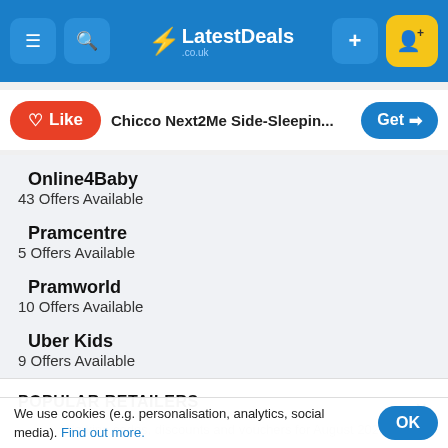LatestDeals.co.uk
Like | Chicco Next2Me Side-Sleepin... | Get
Online4Baby
43 Offers Available
Pramcentre
5 Offers Available
Pramworld
10 Offers Available
Uber Kids
9 Offers Available
POPULAR RETAILERS
Working codes, discounts and vouchers for August 2022
Amazon   Argo...   ...ools   Currys
We use cookies (e.g. personalisation, analytics, social media). Find out more.